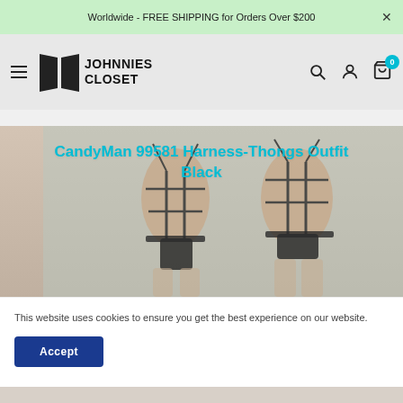Worldwide - FREE SHIPPING for Orders Over $200
[Figure (logo): Johnnies Closet logo with two door/panel icon and text JOHNNIES CLOSET]
CandyMan 99581 Harness-Thongs Outfit Black
[Figure (photo): Two male models wearing black harness-thong outfit, front and back views, against light blue/gray background]
This website uses cookies to ensure you get the best experience on our website.